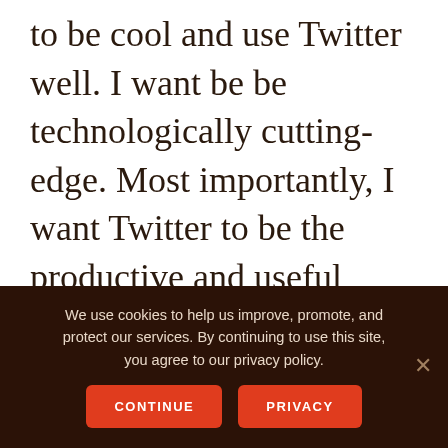to be cool and use Twitter well. I want be be technologically cutting-edge. Most importantly, I want Twitter to be the productive and useful business tool I keep hearing it is from other people.
Twitter Can Be Productive & Pleasant, Even If You're Not Great
We use cookies to help us improve, promote, and protect our services. By continuing to use this site, you agree to our privacy policy.